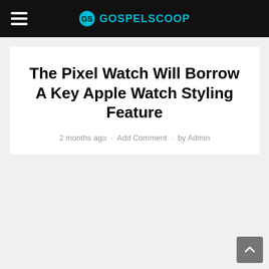GOSPELSCOOP
The Pixel Watch Will Borrow A Key Apple Watch Styling Feature
2 months ago · Add Comment · by Admin